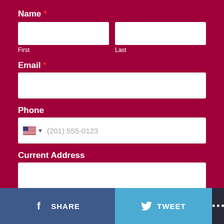Name *
First
Last
Email *
Phone
(201) 555-0123
Current Address
Submit
SHARE
TWEET
...